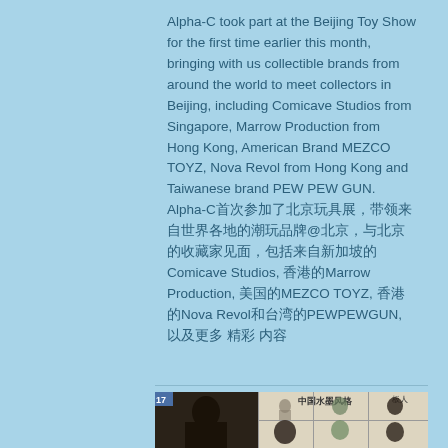Alpha-C took part at the Beijing Toy Show for the first time earlier this month, bringing with us collectible brands from around the world to meet collectors in Beijing, including Comicave Studios from Singapore, Marrow Production from Hong Kong, American Brand MEZCO TOYZ, Nova Revol from Hong Kong and Taiwanese brand PEW PEW GUN. Alpha-C首次参加了北京玩具展，带领来自世界各地的潮玩品牌@北京，与北京的收藏家见面，包括来自新加坡的Comicave Studios, 香港的Marrow Production, 美国的MEZCO TOYZ, 香港的Nova Revol和台湾的PEWPEWGUN, 以及更多 精彩 内容
[Figure (photo): A collage of collectible toy/figure images including dark fantasy character figures on the left and Chinese ink painting style character sketches and 3D renders on the right, with the label 中国水墨风格 (Chinese ink painting style) visible at the top center.]